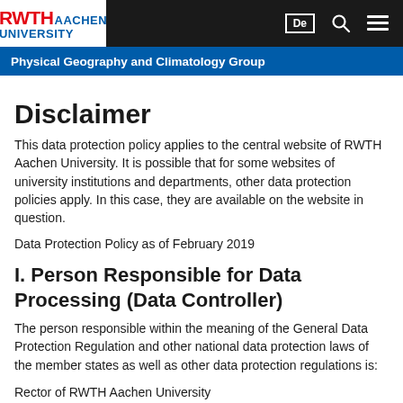RWTH AACHEN UNIVERSITY — Physical Geography and Climatology Group
Disclaimer
This data protection policy applies to the central website of RWTH Aachen University. It is possible that for some websites of university institutions and departments, other data protection policies apply. In this case, they are available on the website in question.
Data Protection Policy as of February 2019
I. Person Responsible for Data Processing (Data Controller)
The person responsible within the meaning of the General Data Protection Regulation and other national data protection laws of the member states as well as other data protection regulations is:
Rector of RWTH Aachen University
Templergraben 55